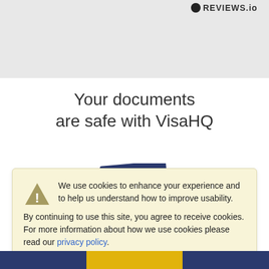REVIEWS.io
Your documents are safe with VisaHQ
[Figure (photo): Passport booklets partially visible, navy blue covers, bottom portion cut off]
We use cookies to enhance your experience and to help us understand how to improve usability. By continuing to use this site, you agree to receive cookies. For more information about how we use cookies please read our privacy policy.
OK